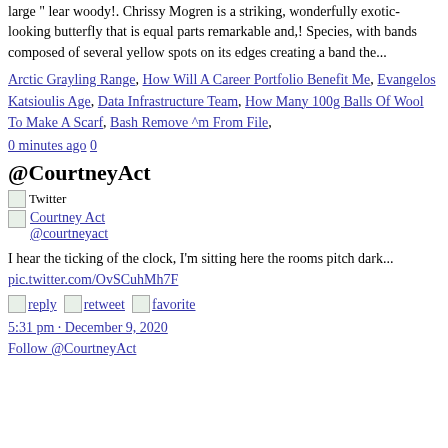large " lear woody!. Chrissy Mogren is a striking, wonderfully exotic-looking butterfly that is equal parts remarkable and,! Species, with bands composed of several yellow spots on its edges creating a band the...
Arctic Grayling Range, How Will A Career Portfolio Benefit Me, Evangelos Katsioulis Age, Data Infrastructure Team, How Many 100g Balls Of Wool To Make A Scarf, Bash Remove ^m From File,
0 minutes ago 0
@CourtneyAct
Twitter
Courtney Act
@courtneyact
I hear the ticking of the clock, I'm sitting here the rooms pitch dark... pic.twitter.com/OvSCuhMh7F
reply retweet favorite
5:31 pm · December 9, 2020
Follow @CourtneyAct